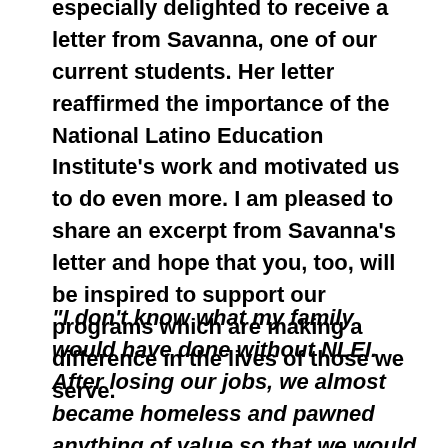especially delighted to receive a letter from Savanna, one of our current students. Her letter reaffirmed the importance of the National Latino Education Institute's work and motivated us to do even more. I am pleased to share an excerpt from Savanna's letter and hope that you, too, will be inspired to support our programs which are making a difference in the lives of those we serve.
“I don’t know what my family would have done without NLEI. After losing our jobs, we almost became homeless and pawned anything of value so that we would have food on the table